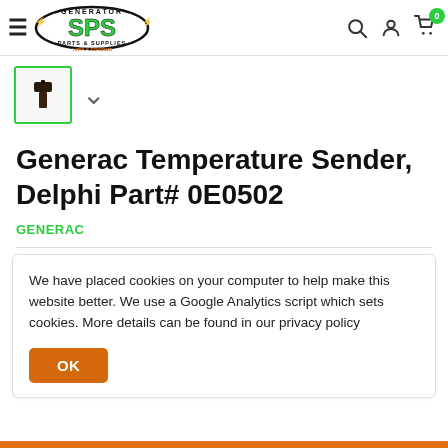Generator SPS Parts & Supplies 1-855-5-SPSPWR
[Figure (screenshot): Small thumbnail image of a black temperature sender part inside a green-bordered box]
Generac Temperature Sender, Delphi Part# 0E0502
GENERAC
We have placed cookies on your computer to help make this website better. We use a Google Analytics script which sets cookies. More details can be found in our privacy policy
OK